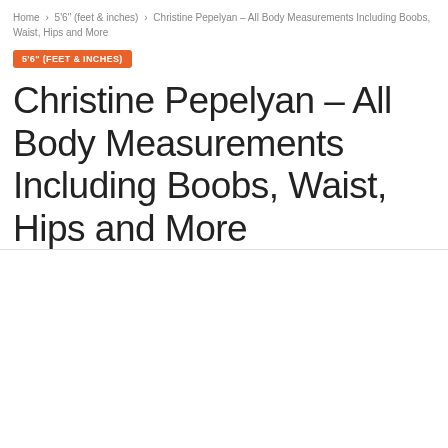Home › 5'6" (feet & inches) › Christine Pepelyan – All Body Measurements Including Boobs, Waist, Hips and More
5'6" (FEET & INCHES)
Christine Pepelyan – All Body Measurements Including Boobs, Waist, Hips and More
By MeasurementsInfo  237  0